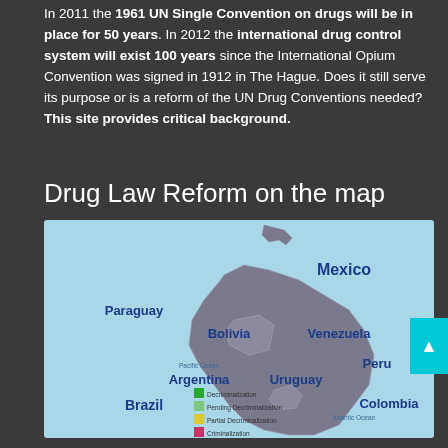In 2011 the 1961 UN Single Convention on drugs will be in place for 50 years. In 2012 the international drug control system will exist 100 years since the International Opium Convention was signed in 1912 in The Hague. Does it still serve its purpose or is a reform of the UN Drug Conventions needed? This site provides critical background.
Drug Law Reform on the map
[Figure (map): Map of South America and Central America showing drug law reform status by country. Countries labeled: Mexico, Paraguay, Bolivia, Venezuela, Peru, Argentina, Uruguay, Brazil, Colombia. Legend shows: Decriminalization (green), Pending Decriminalization (light green), Partial Decriminalization (yellow), Criminalization (red/pink). Ocean areas labeled: Pacific Ocean, Atlantic Ocean.]